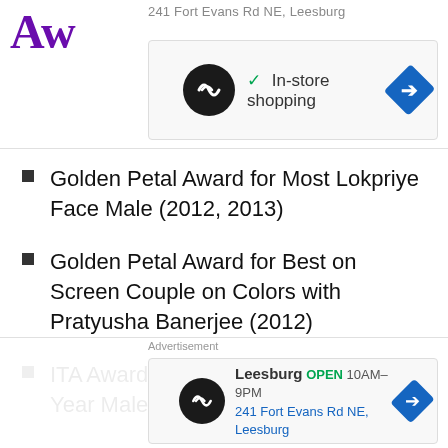[Figure (screenshot): Top advertisement banner showing a store ad with circular logo, 'In-store shopping' text with checkmark, and navigation arrow diamond icon]
Golden Petal Award for Most Lokpriye Face Male (2012, 2013)
Golden Petal Award for Best on Screen Couple on Colors with Pratyusha Banerjee (2012)
ITA Award for GRB! Performer of the Year Male (2013)
Zee Gold Award for Most Fit Actor Male (2014)
Stardust Award for Breakthrough Supporting ...
[Figure (screenshot): Bottom advertisement banner showing Leesburg store ad with address 241 Fort Evans Rd NE, Leesburg, OPEN 10AM-9PM, and navigation arrow diamond icon]